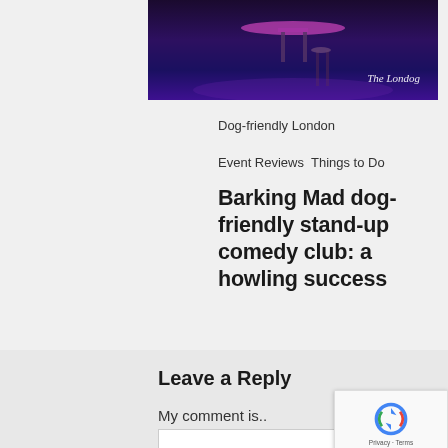[Figure (photo): A dark stage scene with neon/purple lighting, showing what appears to be a comedy club stage with a stool and table, watermarked 'The Londog' in cursive.]
Dog-friendly London
Event Reviews  Things to Do
Barking Mad dog-friendly stand-up comedy club: a howling success
Leave a Reply
My comment is..